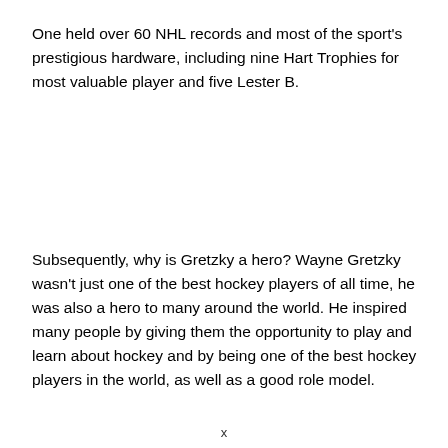One held over 60 NHL records and most of the sport's prestigious hardware, including nine Hart Trophies for most valuable player and five Lester B.
Subsequently, why is Gretzky a hero? Wayne Gretzky wasn't just one of the best hockey players of all time, he was also a hero to many around the world. He inspired many people by giving them the opportunity to play and learn about hockey and by being one of the best hockey players in the world, as well as a good role model.
x